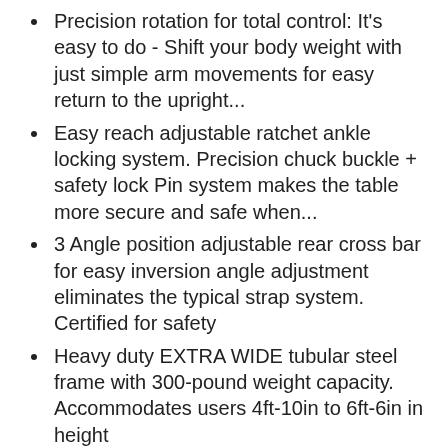Precision rotation for total control: It's easy to do - Shift your body weight with just simple arm movements for easy return to the upright...
Easy reach adjustable ratchet ankle locking system. Precision chuck buckle + safety lock Pin system makes the table more secure and safe when...
3 Angle position adjustable rear cross bar for easy inversion angle adjustment eliminates the typical strap system. Certified for safety
Heavy duty EXTRA WIDE tubular steel frame with 300-pound weight capacity. Accommodates users 4ft-10in to 6ft-6in in height
FOLDABLE & PORTABLE: Convenient, foldable design compactly folds for storage into a closet, or against the wall